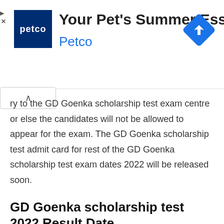[Figure (screenshot): Petco advertisement banner: 'Your Pet's Summer Essentials' with Petco logo (dark blue square with white 'petco' text) and a blue navigation arrow icon on the right.]
ry to the GD Goenka scholarship test exam centre or else the candidates will not be allowed to appear for the exam. The GD Goenka scholarship test admit card for rest of the GD Goenka scholarship test exam dates 2022 will be released soon.
GD Goenka scholarship test 2022 Result Date
organiser have released the GD Goenka scholarship test result 2022 on the official website